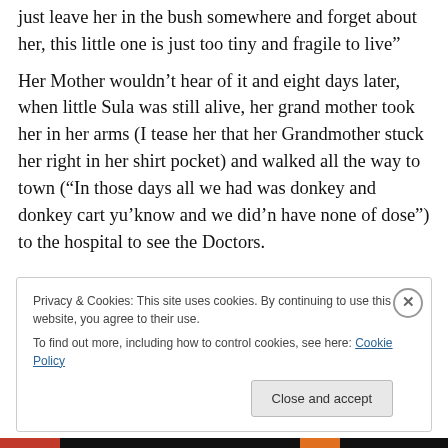just leave her in the bush somewhere and forget about her, this little one is just too tiny and fragile to live"
Her Mother wouldn't hear of it and eight days later, when little Sula was still alive, her grand mother took her in her arms (I tease her that her Grandmother stuck her right in her shirt pocket) and walked all the way to town (“In those days all we had was donkey and donkey cart yu'know and we did'n have none of dose”) to the hospital to see the Doctors.
Privacy & Cookies: This site uses cookies. By continuing to use this website, you agree to their use.
To find out more, including how to control cookies, see here: Cookie Policy